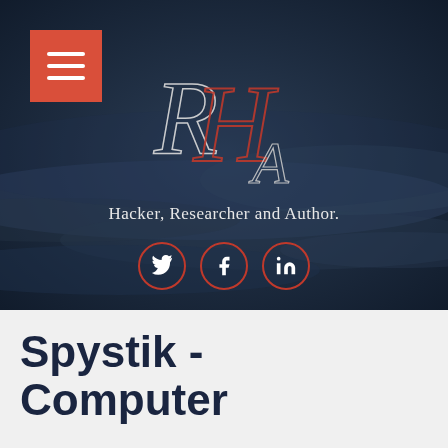[Figure (screenshot): Website header with dark stormy sky background. Red hamburger menu icon top-left. Decorative cursive RHA logo monogram in center. Text 'Hacker, Researcher and Author.' below logo. Three social media icons (Twitter, Facebook, LinkedIn) in red-bordered circles.]
Spystik - Computer